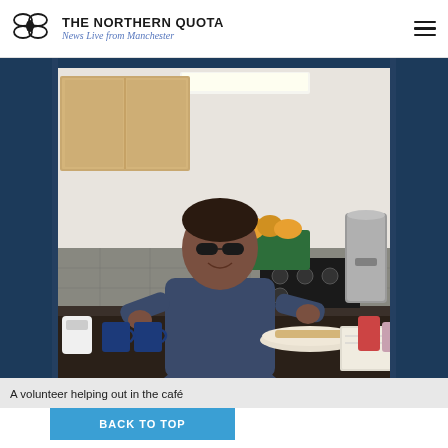THE NORTHERN QUOTA — News Live from Manchester
[Figure (photo): A volunteer standing behind a café counter in a kitchen, smiling, wearing sunglasses and a dark sweatshirt. The counter has mugs, a plate of food, a jug, and other café items. Kitchen cabinets, appliances, and tiled walls visible in background.]
A volunteer helping out in the café
BACK TO TOP